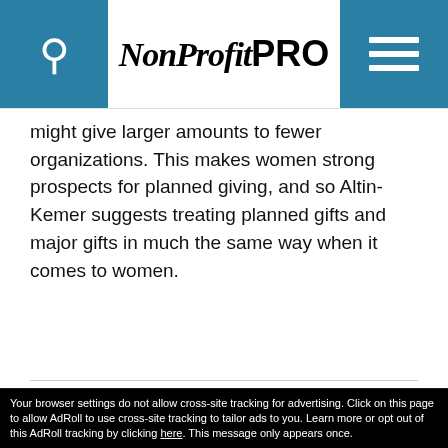NonProfit PRO
might give larger amounts to fewer organizations. This makes women strong prospects for planned giving, and so Altin-Kemer suggests treating planned gifts and major gifts in much the same way when it comes to women.
40 Nonprofit Trends for 2022
This site uses cookies for tracking purposes. By continuing to browse our website, you agree to the storing of first- and third-party cookies on your device to enhance site navigation, analyze site usage, and assist in our marketing and
Accept and Close ✕
Your browser settings do not allow cross-site tracking for advertising. Click on this page to allow AdRoll to use cross-site tracking to tailor ads to you. Learn more or opt out of this AdRoll tracking by clicking here. This message only appears once.